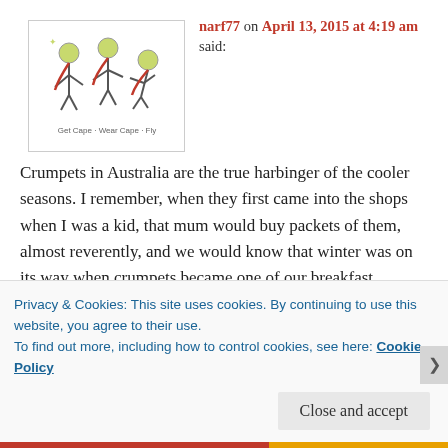[Figure (illustration): Small avatar/logo image showing cartoon characters with capes and the text 'Get Cape. Wear Cape. Fly.' below them]
narf77 on April 13, 2015 at 4:19 am said:
Crumpets in Australia are the true harbinger of the cooler seasons. I remember, when they first came into the shops when I was a kid, that mum would buy packets of them, almost reverently, and we would know that winter was on its way when crumpets became one of our breakfast choices. I LOVE crumpets. They are one food that drives me nuts. For that reason, I can't indulge myself much as several packets can disappear in
Privacy & Cookies: This site uses cookies. By continuing to use this website, you agree to their use.
To find out more, including how to control cookies, see here: Cookie Policy
Close and accept